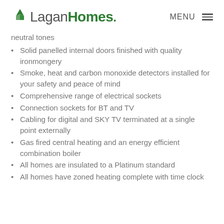Lagan Homes
neutral tones
Solid panelled internal doors finished with quality ironmongery
Smoke, heat and carbon monoxide detectors installed for your safety and peace of mind
Comprehensive range of electrical sockets
Connection sockets for BT and TV
Cabling for digital and SKY TV terminated at a single point externally
Gas fired central heating and an energy efficient combination boiler
All homes are insulated to a Platinum standard
All homes have zoned heating complete with time clock